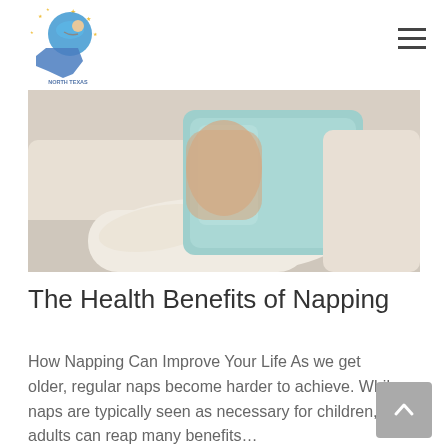North Texas Sleep Solutions
[Figure (photo): A person resting on a couch holding a light blue/teal pillow, wearing a cream/white long-sleeve shirt, with cream-colored cushions visible in the background.]
The Health Benefits of Napping
How Napping Can Improve Your Life As we get older, regular naps become harder to achieve. While naps are typically seen as necessary for children, adults can reap many benefits…